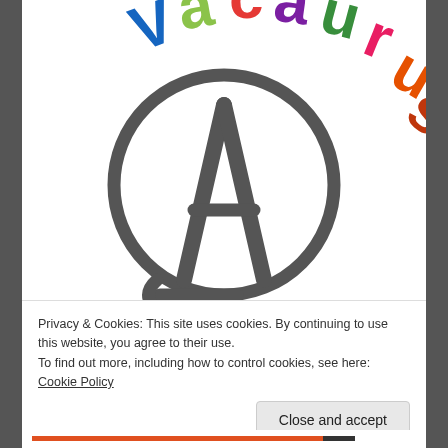[Figure (logo): Vacaurus logo: colorful arched text 'Vacaurus' above a circle containing a stylized anarchy-A symbol in dark gray]
Privacy & Cookies: This site uses cookies. By continuing to use this website, you agree to their use.
To find out more, including how to control cookies, see here: Cookie Policy
Close and accept